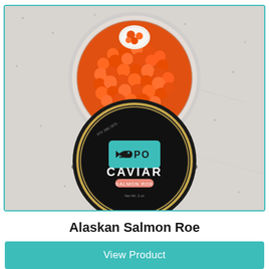[Figure (photo): Top-down photo of an open glass jar filled with bright orange salmon roe/caviar, with a white ceramic spoon resting on top. Below that is a closed black tin of SOPO Caviar Salmon Roe product. Both items are placed on a light gray speckled stone surface.]
Alaskan Salmon Roe
View Product